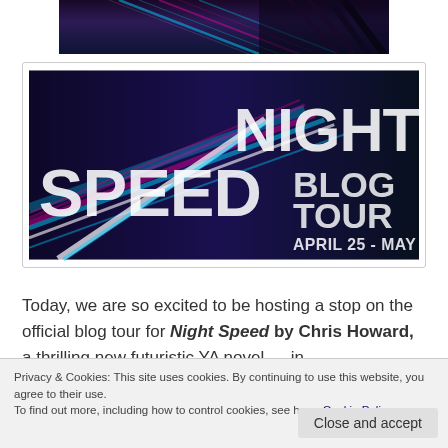[Figure (photo): Top portion of a dark sci-fi/neon themed image, partially visible at top of page]
[Figure (illustration): Night Speed Blog Tour banner image showing neon light streaks on dark background with text: NIGHT SPEED BLOG TOUR APRIL 25 - MAY 6]
Today, we are so excited to be hosting a stop on the official blog tour for Night Speed by Chris Howard, a thrilling new futuristic YA novel — in
Privacy & Cookies: This site uses cookies. By continuing to use this website, you agree to their use.
To find out more, including how to control cookies, see here: Cookie Policy
Close and accept